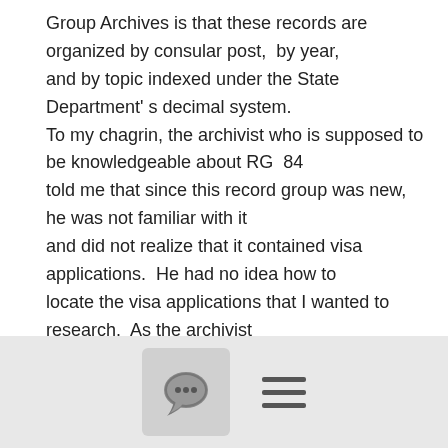Group Archives is that these records are organized by consular post,  by year, and by topic indexed under the State Department' s decimal system. To my chagrin, the archivist who is supposed to be knowledgeable about RG  84 told me that since this record group was new, he was not familiar with it and did not realize that it contained visa applications.  He had no idea how to locate the visa applications that I wanted to  research.  As the archivist had no idea how to locate these records  under the State Department's indexing system, I had no other choice but to  return to New York City empty-handed, having experienced a nice, 24-hour  railroad, Metro, and bus trip. Genealogists who plan to travel any distance in order to research this
[Figure (other): Footer bar with a chat bubble icon in a rounded rectangle box and a hamburger menu icon (three horizontal lines)]